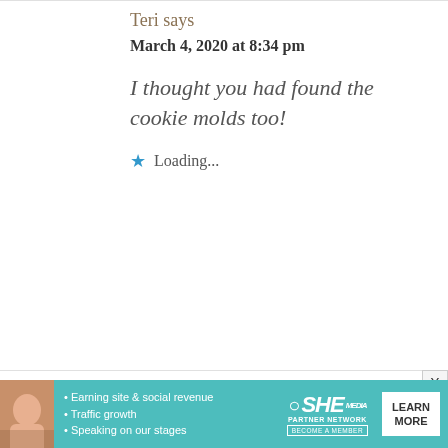Teri says
March 4, 2020 at 8:34 pm
I thought you had found the cookie molds too!
Loading...
Diann Smith says
[Figure (infographic): SHE Partner Network advertisement banner with photo, bullet points about earning site & social revenue, traffic growth, speaking on stages, SHE logo, and Learn More button]